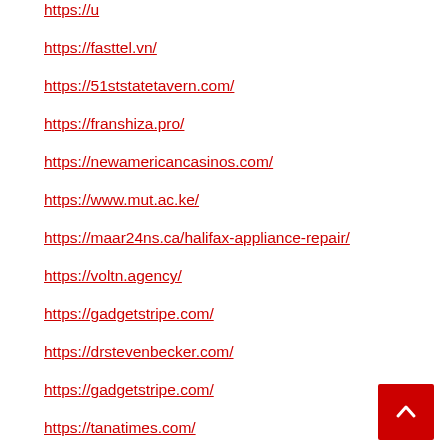https://fasttel.vn/
https://51ststatetavern.com/
https://franshiza.pro/
https://newamericancasinos.com/
https://www.mut.ac.ke/
https://maar24ns.ca/halifax-appliance-repair/
https://voltn.agency/
https://gadgetstripe.com/
https://drstevenbecker.com/
https://gadgetstripe.com/
https://tanatimes.com/
https://www.siamfocus.com/
https://grouplinkjoin.com/
https://joelcleaning.com/
https://reddit.nbastreams.watch/